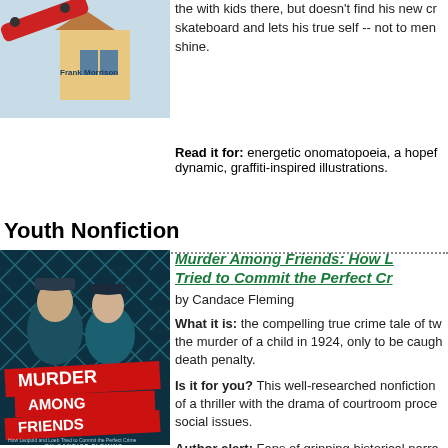[Figure (illustration): Book cover illustration showing a skateboard and street scene with Frank Morrison branding]
the with kids there, but doesn't find his new cr skateboard and lets his true self -- not to men shine.
Read it for: energetic onomatopoeia, a hopef dynamic, graffiti-inspired illustrations.
Youth Nonfiction
[Figure (illustration): Book cover of 'Murder Among Friends: How Leopold and Loeb Tried to Commit the Perfect Crime' by Candace Fleming, showing two young men behind a chain-link fence in teal/blue tones with red banner and white text]
Murder Among Friends: How L Tried to Commit the Perfect Cr
by Candace Fleming
What it is: the compelling true crime tale of tw the murder of a child in 1924, only to be caugh death penalty.
Is it for you? This well-researched nonfiction of a thriller with the drama of courtroom proce social issues.
Author alert: Fans of gripping historical narra author Candace Fleming's The Rise and Fall o The Family R